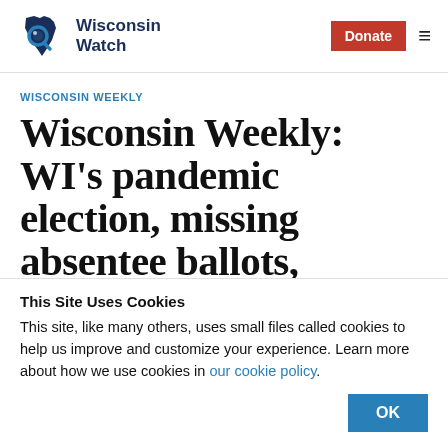Wisconsin Watch — Donate | menu
WISCONSIN WEEKLY
Wisconsin Weekly: WI's pandemic election, missing absentee ballots,
This Site Uses Cookies
This site, like many others, uses small files called cookies to help us improve and customize your experience. Learn more about how we use cookies in our cookie policy.
OK